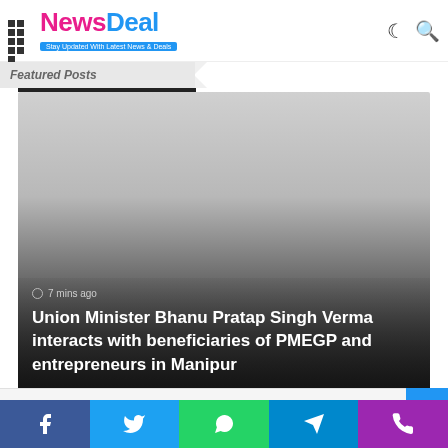NewsDeal – Stay Updated With Latest News & Deals
Featured Posts
[Figure (photo): Featured news article image with gradient overlay showing news article card]
7 mins ago
Union Minister Bhanu Pratap Singh Verma interacts with beneficiaries of PMEGP and entrepreneurs in Manipur
Social share buttons: Facebook, Twitter, WhatsApp, Telegram, Phone